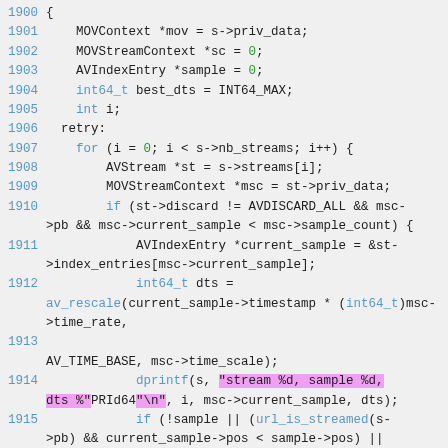[Figure (screenshot): Source code listing showing lines 1900-1917 of a C file with syntax highlighting. Line numbers in blue on the left, keywords in blue, numeric literals in green, string literals highlighted in pink/magenta.]